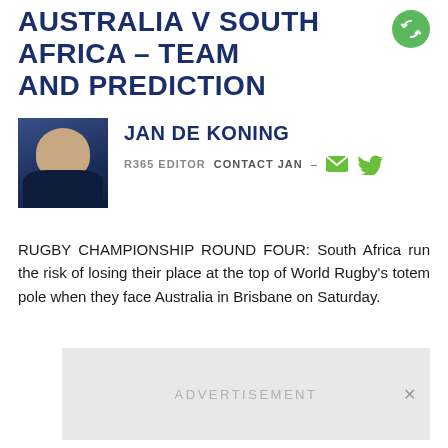AUSTRALIA V SOUTH AFRICA – TEAM AND PREDICTION
[Figure (illustration): Green circular share/refresh icon button in top right]
[Figure (photo): Headshot photo of Jan de Koning, man in dark suit against dark background]
JAN DE KONING
R365 EDITOR   CONTACT JAN
[Figure (illustration): Email envelope icon and Twitter bird icon in green]
RUGBY CHAMPIONSHIP ROUND FOUR: South Africa run the risk of losing their place at the top of World Rugby's totem pole when they face Australia in Brisbane on Saturday.
[Figure (other): Advertisement placeholder box with text ADVERTISEMENT and close button]